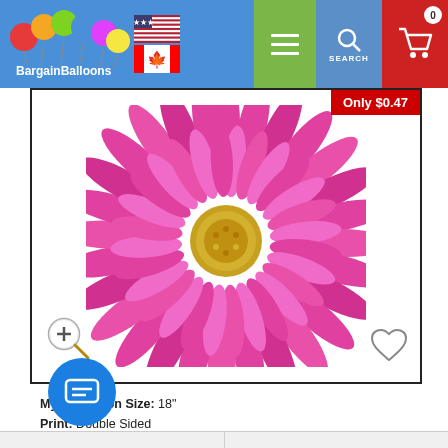[Figure (screenshot): BargainBalloons website header with logo, US and Canadian flags, hamburger menu, search, and cart nav icons]
[Figure (photo): Pink daisy/gerbera mylar balloon, circular flower shape with hot pink petals and golden yellow center, on white background]
Mylar Balloon Size: 18"
Print: Double Sided
Make: Convergram
Other: Self Sealing Mylar Balloon, sold unpackaged.
Wholesale Discount Price: $0.47 CAD
Product Code: 15756-18